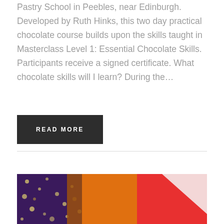Pastry School in Peebles, near Edinburgh. Developed by Ruth Hinks, this two day practical chocolate course builds upon the skills taught in Masterclass Level 1: Essential Chocolate Skills. Participants receive a signed certificate. What chocolate skills will I learn? During the…
READ MORE
[Figure (photo): Close-up macro photograph of colorful chocolate decorations: dark chocolate with purple/white speckles on the left, orange and red smooth chocolate shapes in the center and right, with a white triangular accent.]